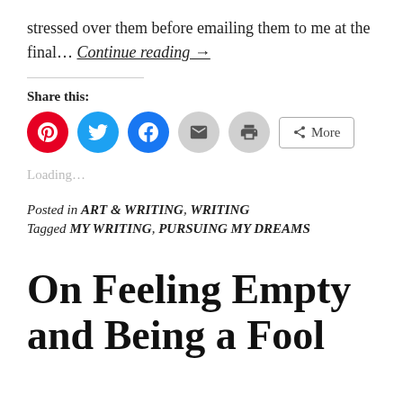stressed over them before emailing them to me at the final… Continue reading →
Share this:
[Figure (other): Social share buttons: Pinterest, Twitter, Facebook, Email, Print, More]
Loading...
Posted in ART & WRITING, WRITING
Tagged MY WRITING, PURSUING MY DREAMS
On Feeling Empty and Being a Fool